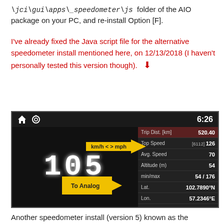\jci\gui\apps\_speedometer\js  folder of the AIO package on your PC, and re-install Option [F].
I've already fixed the Java script file for the alternative speedometer install mentioned here, on 12/13/2018 (I haven't personally tested this version though).  ⬇
[Figure (screenshot): Screenshot of a digital speedometer app showing 105 km/h with data panel on right showing Trip Dist. 520.40, Top Speed [6112] 126, Avg. Speed 70, Altitude (m) 54, min/max 54/176, Lat. 102.7890°N, Lon. 57.2346°E, Total Time 1:36, Idle Time 0:00, Engine Idle 0:00. Yellow arrow at top labeled 'km/h < > mph' and yellow arrow at bottom labeled 'To Analog'. Clock shows 6:26.]
Another speedometer install (version 5) known as the